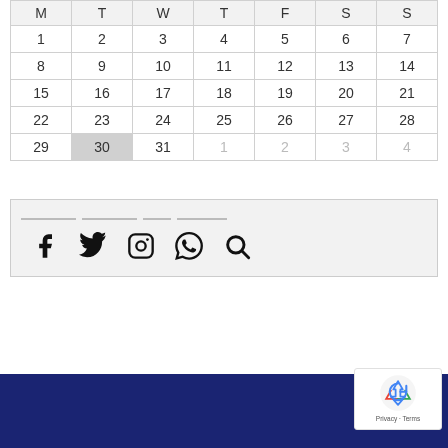| M | T | W | T | F | S | S |
| --- | --- | --- | --- | --- | --- | --- |
| 1 | 2 | 3 | 4 | 5 | 6 | 7 |
| 8 | 9 | 10 | 11 | 12 | 13 | 14 |
| 15 | 16 | 17 | 18 | 19 | 20 | 21 |
| 22 | 23 | 24 | 25 | 26 | 27 | 28 |
| 29 | 30 | 31 | 1 | 2 | 3 | 4 |
[Figure (screenshot): Social media icons row: Facebook, Twitter, Instagram, WhatsApp, Search, with horizontal link bars above]
[Figure (logo): reCAPTCHA badge with Privacy and Terms links, showing recycling-arrow logo in blue]